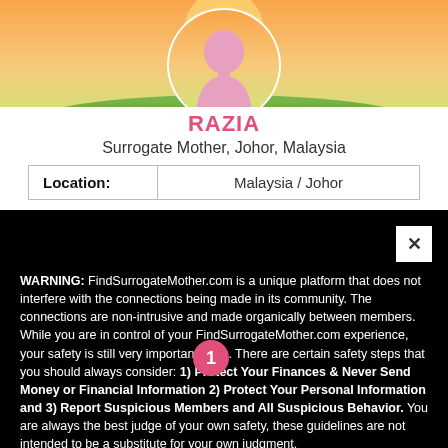[Figure (photo): Profile photo of surrogate mother Razia with scenic countryside background and pink silhouette overlay]
RAZIA
Surrogate Mother, Johor, Malaysia
| Location: | Malaysia / Johor |
| --- | --- |
WARNING: FindSurrogateMother.com is a unique platform that does not interfere with the connections being made in its community. The connections are non-intrusive and made organically between members. While you are in control of your FindSurrogateMother.com experience, your safety is still very important to us. There are certain safety steps that you should always consider: 1) Protect Your Finances & Never Send Money or Financial Information 2) Protect Your Personal Information and 3) Report Suspicious Members and All Suspicious Behavior. You are always the best judge of your own safety, these guidelines are not intended to be a substitute for your own judgment.